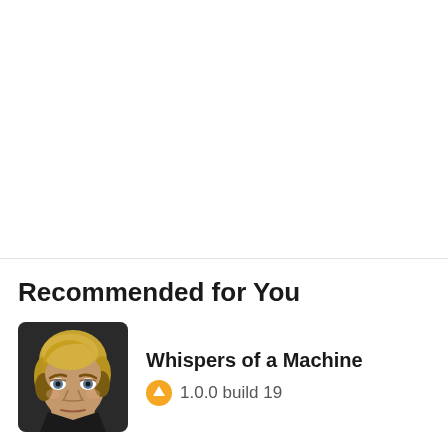Recommended for You
[Figure (illustration): Game thumbnail showing a stylized female character with short blonde hair and serious expression, rendered in a semi-realistic artistic style]
Whispers of a Machine
1.0.0 build 19